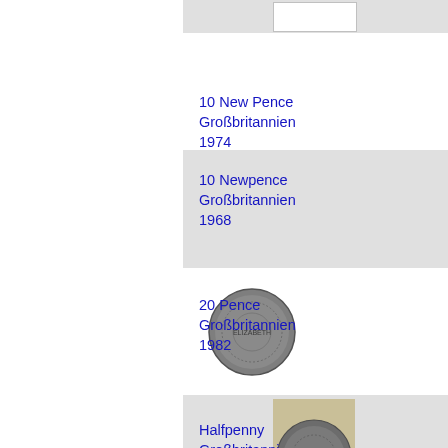[Figure (photo): Partial gray block at top with white rectangle coin image area — top of a coin catalog entry]
10 New Pence
Großbritannien
1974
[Figure (photo): Gray block for 10 Newpence coin entry with coin image area]
10 Newpence
Großbritannien
1968
[Figure (photo): 20 Pence coin — round gray coin on white background]
20 Pence
Großbritannien
1982
[Figure (photo): Halfpenny coin in gray block entry — coin image partially shown]
Halfpenny
Großbritanni...